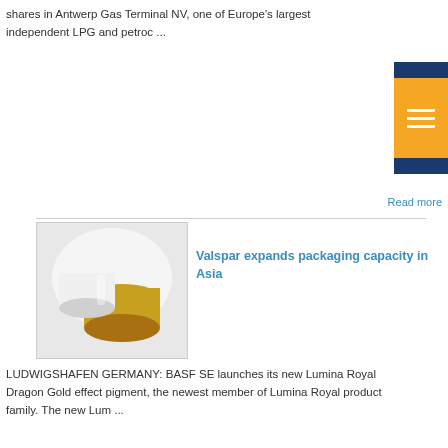shares in Antwerp Gas Terminal NV, one of Europe's largest independent LPG and petroc ...
[Figure (other): Navigation menu button with orange background and white hamburger icon lines on dark blue background]
Read more
[Figure (photo): Close-up photo of gold and white metallic cans or lids]
Valspar expands packaging capacity in Asia
LUDWIGSHAFEN GERMANY: BASF SE launches its new Lumina Royal Dragon Gold effect pigment, the newest member of Lumina Royal product family. The new Lum ...
Read more
[Figure (logo): Valspar logo text in dark gray]
Lubrizol acquires dye, pigment company in UK
MINNEAPOLIS, US: The Valspar Corporation expands its packaging production capacity at its Singapore facility to meet increased